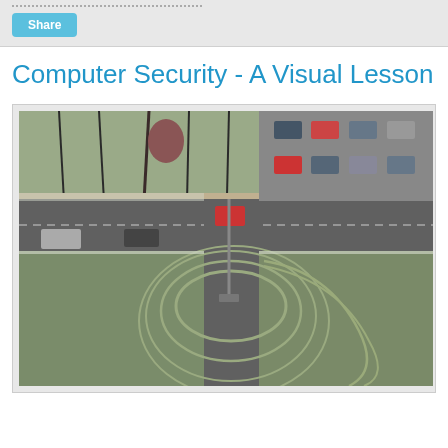Share
Computer Security - A Visual Lesson
[Figure (photo): Aerial/overhead view of a road intersection with a T-junction, showing a horizontal road with parked cars and a vertical road extending downward through a grassy area with tire track marks on the grass, light snow on the ground, trees visible in the background]